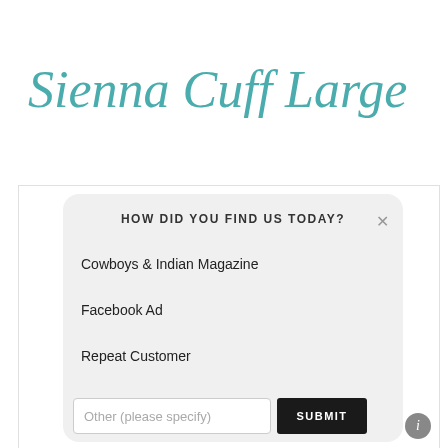Sienna Cuff Large
HOW DID YOU FIND US TODAY?
Cowboys & Indian Magazine
Facebook Ad
Repeat Customer
Other (please specify)
SUBMIT